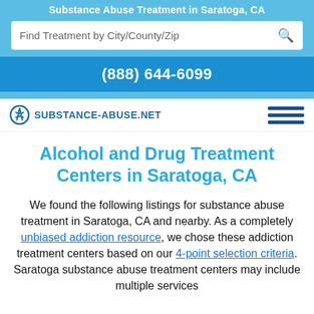Substance Abuse Treatment in Saratoga, CA
Find Treatment by City/County/Zip
(888) 644-6099
SUBSTANCE-ABUSE.NET
Alcohol and Drug Treatment Centers in Saratoga, CA
We found the following listings for substance abuse treatment in Saratoga, CA and nearby. As a completely unbiased addiction resource, we chose these addiction treatment centers based on our 4-point selection criteria. Saratoga substance abuse treatment centers may include multiple services